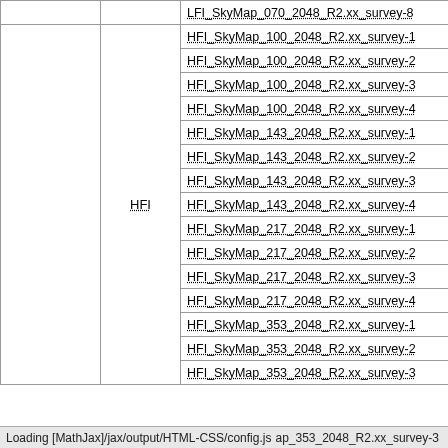|  |  | Filename |
| --- | --- | --- |
|  |  | LFI_SkyMap_070_2048_R2.xx_survey-8 |
|  | HFI | HFI_SkyMap_100_2048_R2.xx_survey-1 |
|  | HFI | HFI_SkyMap_100_2048_R2.xx_survey-2 |
|  | HFI | HFI_SkyMap_100_2048_R2.xx_survey-3 |
|  | HFI | HFI_SkyMap_100_2048_R2.xx_survey-4 |
|  | HFI | HFI_SkyMap_143_2048_R2.xx_survey-1 |
|  | HFI | HFI_SkyMap_143_2048_R2.xx_survey-2 |
|  | HFI | HFI_SkyMap_143_2048_R2.xx_survey-3 |
|  | HFI | HFI_SkyMap_143_2048_R2.xx_survey-4 |
|  | HFI | HFI_SkyMap_217_2048_R2.xx_survey-1 |
|  | HFI | HFI_SkyMap_217_2048_R2.xx_survey-2 |
|  | HFI | HFI_SkyMap_217_2048_R2.xx_survey-3 |
|  | HFI | HFI_SkyMap_217_2048_R2.xx_survey-4 |
|  | HFI | HFI_SkyMap_353_2048_R2.xx_survey-1 |
|  | HFI | HFI_SkyMap_353_2048_R2.xx_survey-2 |
|  | HFI | HFI_SkyMap_353_2048_R2.xx_survey-3 |
Loading [MathJax]/jax/output/HTML-CSS/config.js   ap_353_2048_R2.xx_survey-3